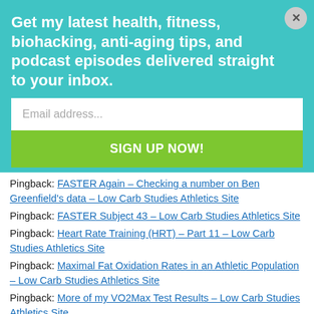Get my latest health, fitness, biohacking, anti-aging tips, and podcast episodes delivered straight to your inbox.
Email address...
SIGN UP NOW!
Pingback: FASTER Again – Checking a number on Ben Greenfield's data – Low Carb Studies Athletics Site
Pingback: FASTER Subject 43 – Low Carb Studies Athletics Site
Pingback: Heart Rate Training (HRT) – Part 11 – Low Carb Studies Athletics Site
Pingback: Maximal Fat Oxidation Rates in an Athletic Population – Low Carb Studies Athletics Site
Pingback: More of my VO2Max Test Results – Low Carb Studies Athletics Site
Pingback: Heart Rate Training – Part 11 – Low Carb Studies BLOG